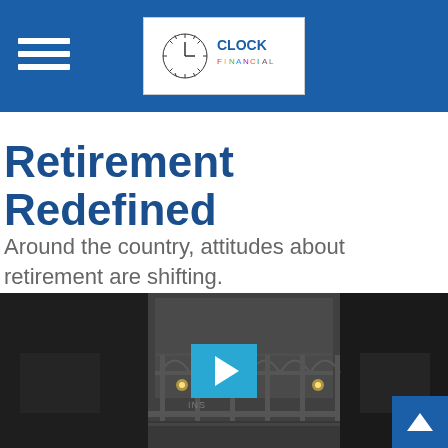Clock Financial — navigation header with logo
Retirement Redefined
Around the country, attitudes about retirement are shifting.
[Figure (screenshot): Video thumbnail showing a black and white image of a classical building interior with arched columns and wall sconces, with a cyan play button overlay in the center]